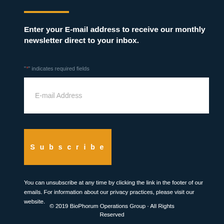Enter your E-mail address to receive our monthly newsletter direct to your inbox.
"*" indicates required fields
E-mail Address
Subscribe
You can unsubscribe at any time by clicking the link in the footer of our emails. For information about our privacy practices, please visit our website.
© 2019 BioPhorum Operations Group · All Rights Reserved